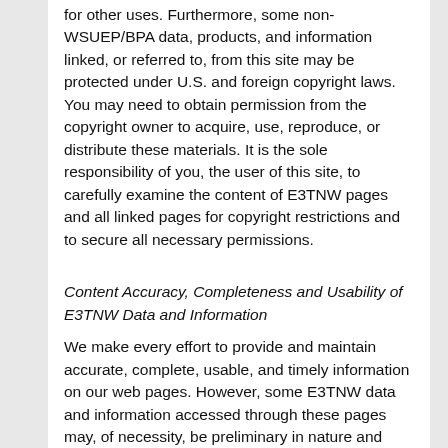for other uses. Furthermore, some non-WSUEP/BPA data, products, and information linked, or referred to, from this site may be protected under U.S. and foreign copyright laws. You may need to obtain permission from the copyright owner to acquire, use, reproduce, or distribute these materials. It is the sole responsibility of you, the user of this site, to carefully examine the content of E3TNW pages and all linked pages for copyright restrictions and to secure all necessary permissions.
Content Accuracy, Completeness and Usability of E3TNW Data and Information
We make every effort to provide and maintain accurate, complete, usable, and timely information on our web pages. However, some E3TNW data and information accessed through these pages may, of necessity, be preliminary in nature and presented prior to final review. These data and information are provided with the understanding that they are not guaranteed to be correct or complete. Users are cautioned to consider carefully the provisional nature of these data and information before using them for